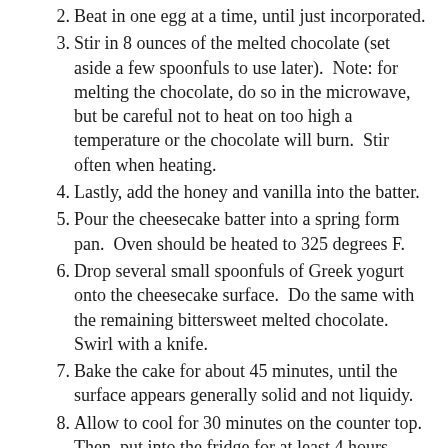2. Beat in one egg at a time, until just incorporated.
3. Stir in 8 ounces of the melted chocolate (set aside a few spoonfuls to use later).  Note: for melting the chocolate, do so in the microwave, but be careful not to heat on too high a temperature or the chocolate will burn.  Stir often when heating.
4. Lastly, add the honey and vanilla into the batter.
5. Pour the cheesecake batter into a spring form pan.  Oven should be heated to 325 degrees F.
6. Drop several small spoonfuls of Greek yogurt onto the cheesecake surface.  Do the same with the remaining bittersweet melted chocolate.  Swirl with a knife.
7. Bake the cake for about 45 minutes, until the surface appears generally solid and not liquidy.
8. Allow to cool for 30 minutes on the counter top.  Then, put into the fridge for at least 4 hours before eating.  Possibly even overnight.